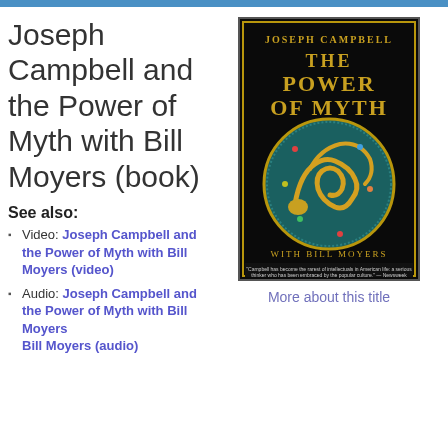Joseph Campbell and the Power of Myth with Bill Moyers (book)
See also:
Video: Joseph Campbell and the Power of Myth with Bill Moyers (video)
Audio: Joseph Campbell and the Power of Myth with Bill Moyers (audio)
[Figure (photo): Book cover of 'The Power of Myth' by Joseph Campbell with Bill Moyers. Black background with gold text reading 'JOSEPH CAMPBELL' at top, large title 'THE POWER OF MYTH' in gold letters, ornate circular medallion with golden dragon on teal/blue background, subtitle 'WITH BILL MOYERS', and a quote from Newsweek at bottom.]
More about this title